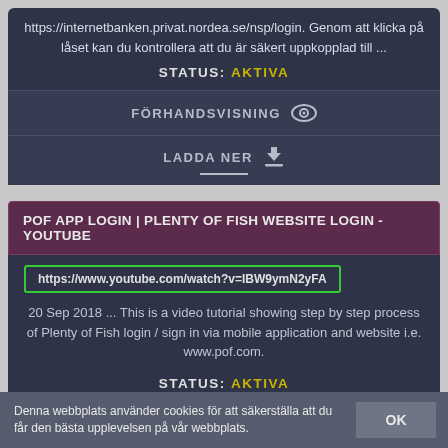https://internetbanken.privat.nordea.se/nsp/login. Genom att klicka på låset kan du kontrollera att du är säkert uppkopplad till ...
STATUS: AKTIVA
FÖRHANDSVISNING
LADDA NER
POF APP LOGIN | PLENTY OF FISH WEBSITE LOGIN - YOUTUBE
https://www.youtube.com/watch?v=IBW9ymN2yFA
20 Sep 2018 ... This is a video tutorial showing step by step process of Plenty of Fish login / sign in via mobile application and website i.e. www.pof.com.
STATUS: AKTIVA
Denna webbplats använder cookies för att säkerställa att du får den bästa upplevelsen på vår webbplats.